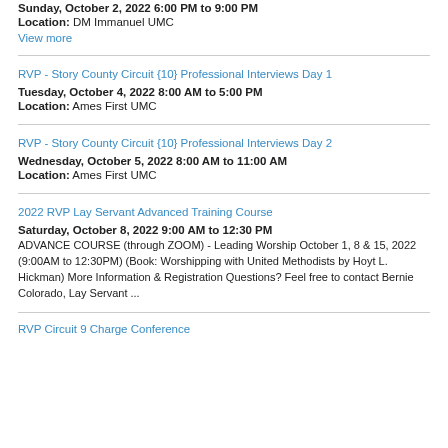Sunday, October 2, 2022 6:00 PM to 9:00 PM
Location: DM Immanuel UMC
View more
RVP - Story County Circuit {10} Professional Interviews Day 1
Tuesday, October 4, 2022 8:00 AM to 5:00 PM
Location: Ames First UMC
RVP - Story County Circuit {10} Professional Interviews Day 2
Wednesday, October 5, 2022 8:00 AM to 11:00 AM
Location: Ames First UMC
2022 RVP Lay Servant Advanced Training Course
Saturday, October 8, 2022 9:00 AM to 12:30 PM
ADVANCE COURSE (through ZOOM) - Leading Worship October 1, 8 & 15, 2022 (9:00AM to 12:30PM) (Book: Worshipping with United Methodists by Hoyt L. Hickman) More Information & Registration Questions? Feel free to contact Bernie Colorado, Lay Servant ...
RVP Circuit 9 Charge Conference